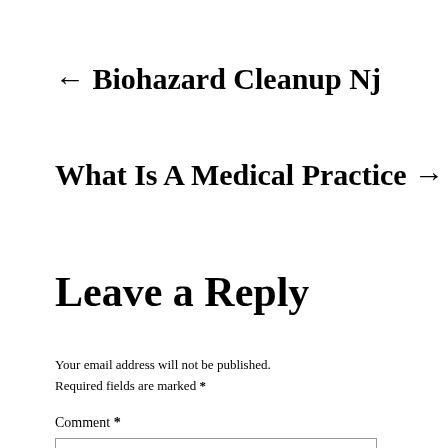← Biohazard Cleanup Nj
What Is A Medical Practice →
Leave a Reply
Your email address will not be published. Required fields are marked *
Comment *